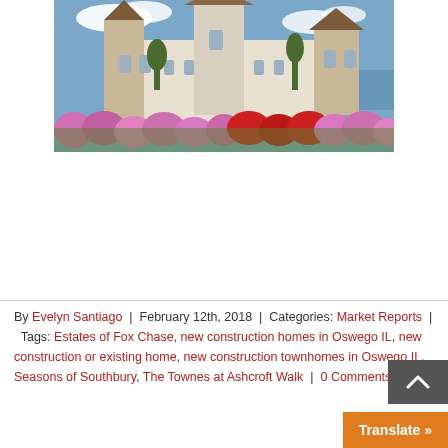[Figure (photo): Photo of a castle with pointed turrets and spires, surrounded by colorful pink and red flowers in the foreground, with blue sky and water in the background.]
By Evelyn Santiago | February 12th, 2018 | Categories: Market Reports | Tags: Estates of Fox Chase, new construction homes in Oswego IL, new construction or existing home, new construction townhomes in Oswego IL, Seasons of Southbury, The Townes at Ashcroft Walk | 0 Comments